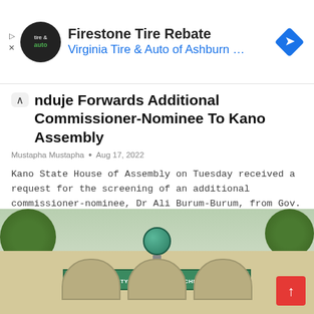[Figure (screenshot): Advertisement banner: Firestone Tire Rebate - Virginia Tire & Auto of Ashburn ...]
Ganduje Forwards Additional Commissioner-Nominee To Kano Assembly
Mustapha Mustapha • Aug 17, 2022
Kano State House of Assembly on Tuesday received a request for the screening of an additional commissioner-nominee, Dr Ali Burum-Burum, from Gov. Abdullahi Ganduje. This is contained in a statement by the Chief Press Secretary Kano State…
READ MORE...
[Figure (photo): Photo of Kano University of Science & Technology, Wudil building entrance with arches and globe sculpture]